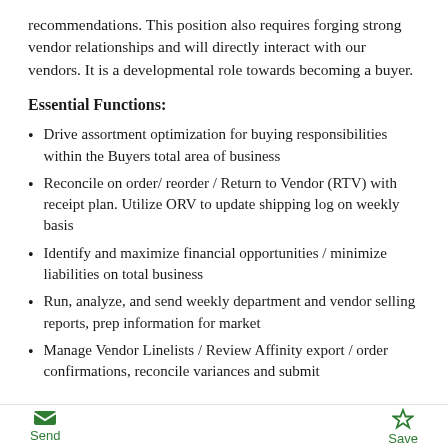recommendations. This position also requires forging strong vendor relationships and will directly interact with our vendors. It is a developmental role towards becoming a buyer.
Essential Functions:
Drive assortment optimization for buying responsibilities within the Buyers total area of business
Reconcile on order/ reorder / Return to Vendor (RTV) with receipt plan. Utilize ORV to update shipping log on weekly basis
Identify and maximize financial opportunities / minimize liabilities on total business
Run, analyze, and send weekly department and vendor selling reports, prep information for market
Manage Vendor Linelists / Review Affinity export / order confirmations, reconcile variances and submit
Send  Save